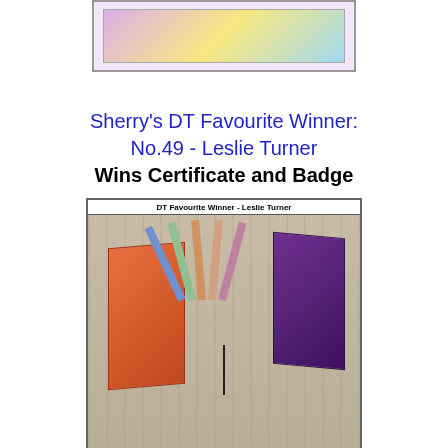[Figure (photo): Top banner image showing a craft/scrapbooking related image with pink and colorful background, bordered in gray]
Sherry's DT Favourite Winner:
No.49 - Leslie Turner
Wins Certificate and Badge
[Figure (photo): Framed photo of an open handmade book/journal with colorful fanned pages, red and purple covers, on a wooden surface. Caption reads 'DT Favourite Winner - Leslie Turner']